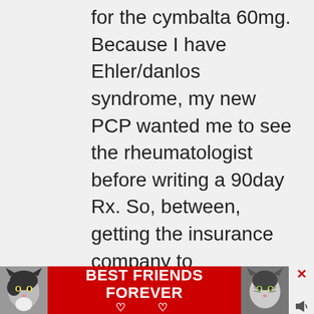for the cymbalta 60mg. Because I have Ehler/danlos syndrome, my new PCP wanted me to see the rheumatologist before writing a 90day Rx. So, between, getting the insurance company to understand, the PCP and the rheumatologist appointment, I was out of medication for a month!! I had the WORST withdrawal symptoms imaginable! I would sweat profusely, constant nausea, agitated and the worst insomnia! My boss actually took me aside and
[Figure (other): Advertisement banner showing two cats (black-and-white and tabby) with text 'BEST FRIENDS FOREVER' in white on red background, with heart symbols and a close/mute button]